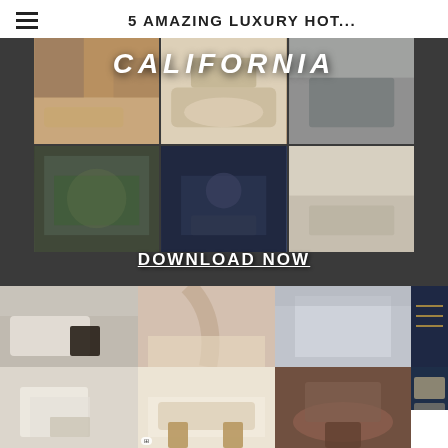5 AMAZING LUXURY HOT...
[Figure (photo): Luxury hotel interior design collage with CALIFORNIA text overlay and DOWNLOAD NOW button on dark background, featuring 6 interior design room photos in a grid]
[Figure (photo): Grid of luxury interior design room photos: living room, marble staircase, dining room, dark blue bar/lounge, console table, marble surface, dining chairs, and a 'MESSAGE A DESIGNER' badge in bottom right]